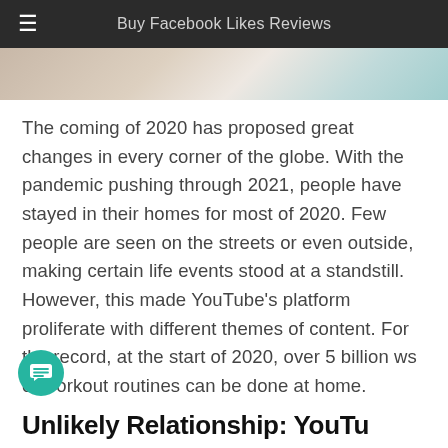Buy Facebook Likes Reviews
[Figure (photo): Partial image of hands/objects visible at top of page, cropped]
The coming of 2020 has proposed great changes in every corner of the globe. With the pandemic pushing through 2021, people have stayed in their homes for most of 2020. Few people are seen on the streets or even outside, making certain life events stood at a standstill. However, this made YouTube’s platform proliferate with different themes of content. For the record, at the start of 2020, over 5 billion ws of workout routines can be done at home.
Unlikely Relationship: YouTu—